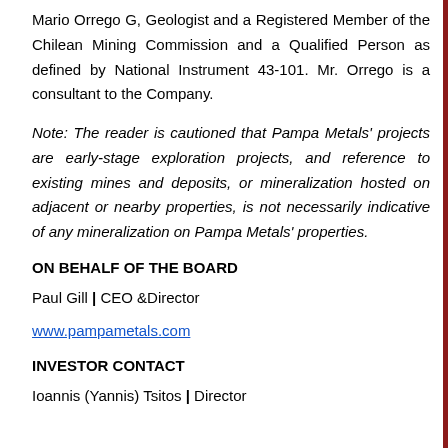Mario Orrego G, Geologist and a Registered Member of the Chilean Mining Commission and a Qualified Person as defined by National Instrument 43-101. Mr. Orrego is a consultant to the Company.
Note: The reader is cautioned that Pampa Metals' projects are early-stage exploration projects, and reference to existing mines and deposits, or mineralization hosted on adjacent or nearby properties, is not necessarily indicative of any mineralization on Pampa Metals' properties.
ON BEHALF OF THE BOARD
Paul Gill | CEO &Director
www.pampametals.com
INVESTOR CONTACT
Ioannis (Yannis) Tsitos | Director